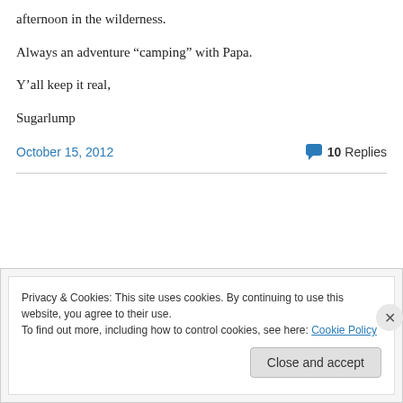afternoon in the wilderness.
Always an adventure “camping” with Papa.
Y’all keep it real,
Sugarlump
October 15, 2012
10 Replies
Privacy & Cookies: This site uses cookies. By continuing to use this website, you agree to their use. To find out more, including how to control cookies, see here: Cookie Policy
Close and accept